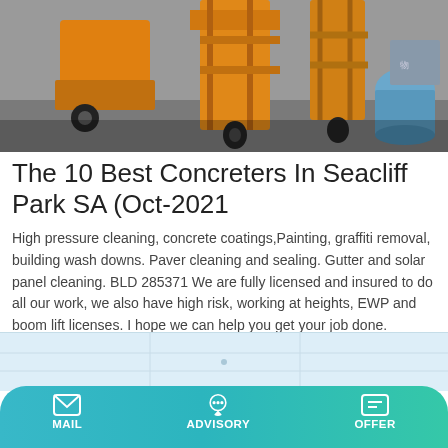[Figure (photo): Orange construction equipment/machinery in a warehouse or storage area]
The 10 Best Concreters In Seacliff Park SA (Oct-2021
High pressure cleaning, concrete coatings,Painting, graffiti removal, building wash downs. Paver cleaning and sealing. Gutter and solar panel cleaning. BLD 285371 We are fully licensed and insured to do all our work, we also have high risk, working at heights, EWP and boom lift licenses. I hope we can help you get your job done.
[Figure (other): Learn More button - cyan/teal colored button]
[Figure (map): Light blue map area at the bottom]
MAIL   ADVISORY   OFFER